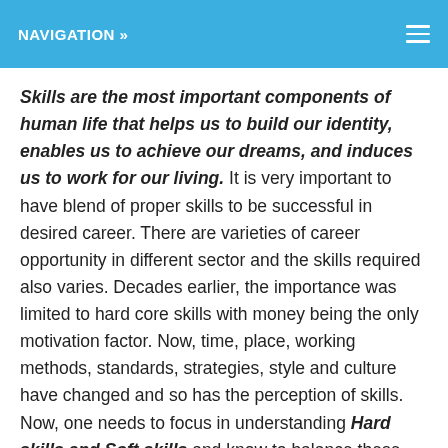NAVIGATION »
Skills are the most important components of human life that helps us to build our identity, enables us to achieve our dreams, and induces us to work for our living. It is very important to have blend of proper skills to be successful in desired career. There are varieties of career opportunity in different sector and the skills required also varies. Decades earlier, the importance was limited to hard core skills with money being the only motivation factor. Now, time, place, working methods, standards, strategies, style and culture have changed and so has the perception of skills. Now, one needs to focus in understanding Hard skills and Soft skills and know to balance these skills in their respective workplace.